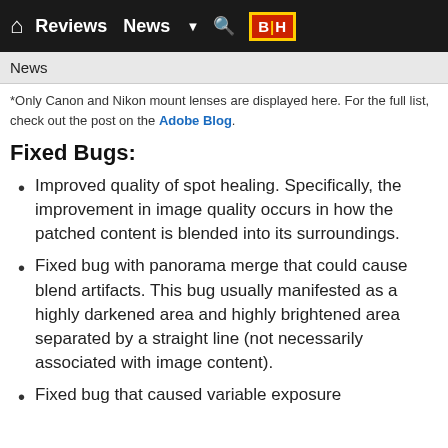Reviews  News  B|H
News
*Only Canon and Nikon mount lenses are displayed here. For the full list, check out the post on the Adobe Blog.
Fixed Bugs:
Improved quality of spot healing. Specifically, the improvement in image quality occurs in how the patched content is blended into its surroundings.
Fixed bug with panorama merge that could cause blend artifacts. This bug usually manifested as a highly darkened area and highly brightened area separated by a straight line (not necessarily associated with image content).
Fixed bug that caused variable exposure